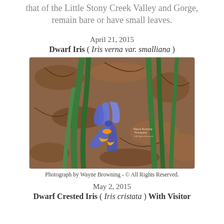that of the Little Stony Creek Valley and Gorge, remain bare or have small leaves.
April 21, 2015
Dwarf Iris ( Iris verna var. smalliana )
[Figure (photo): Photograph of a Dwarf Iris (Iris verna var. smalliana) with blue-purple petals and orange markings, surrounded by green leaves and brown leaf litter on the ground.]
Photograph by Wayne Browning - © All Rights Reserved.
May 2, 2015
Dwarf Crested Iris ( Iris cristata ) With Visitor